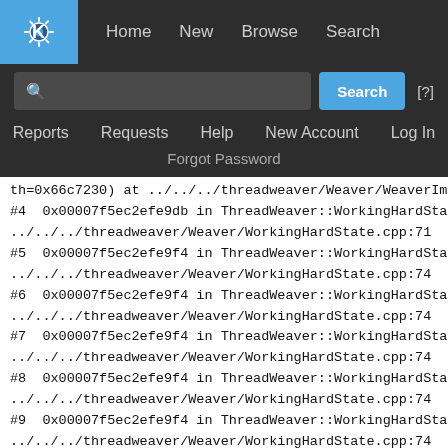KDE logo navigation bar with Home, New, Browse, Search links
Search input field with Search button and [?] help
Reports  Requests  Help  New Account  Log In
Forgot Password
th=0x66c7230) at ../../../threadweaver/Weaver/WeaverImpl.cpp:365
#4  0x00007f5ec2efe9db in ThreadWeaver::WorkingHardState::app
../../../threadweaver/Weaver/WorkingHardState.cpp:71
#5  0x00007f5ec2efe9f4 in ThreadWeaver::WorkingHardState::appl
../../../threadweaver/Weaver/WorkingHardState.cpp:74
#6  0x00007f5ec2efe9f4 in ThreadWeaver::WorkingHardState::appl
../../../threadweaver/Weaver/WorkingHardState.cpp:74
#7  0x00007f5ec2efe9f4 in ThreadWeaver::WorkingHardState::apply
../../../threadweaver/Weaver/WorkingHardState.cpp:74
#8  0x00007f5ec2efe9f4 in ThreadWeaver::WorkingHardState::appl
../../../threadweaver/Weaver/WorkingHardState.cpp:74
#9  0x00007f5ec2efe9f4 in ThreadWeaver::WorkingHardState::appl
../../../threadweaver/Weaver/WorkingHardState.cpp:74